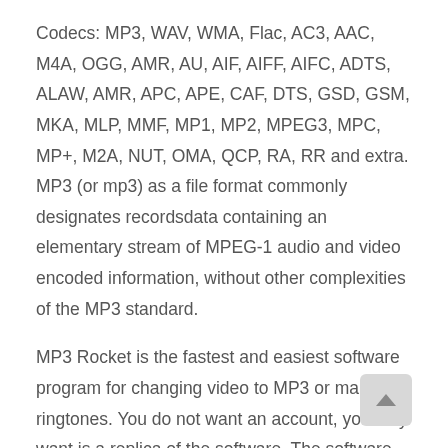Codecs: MP3, WAV, WMA, Flac, AC3, AAC, M4A, OGG, AMR, AU, AIF, AIFF, AIFC, ADTS, ALAW, AMR, APC, APE, CAF, DTS, GSD, GSM, MKA, MLP, MMF, MP1, MP2, MPEG3, MPC, MP+, M2A, NUT, OMA, QCP, RA, RR and extra. MP3 (or mp3) as a file format commonly designates recordsdata containing an elementary stream of MPEG-1 audio and video encoded information, without other complexities of the MP3 standard.
MP3 Rocket is the fastest and easiest software program for changing video to MP3 or making ringtones. You do not want an account, you only want is a replica of the software. The software converts any video to MP3 fast